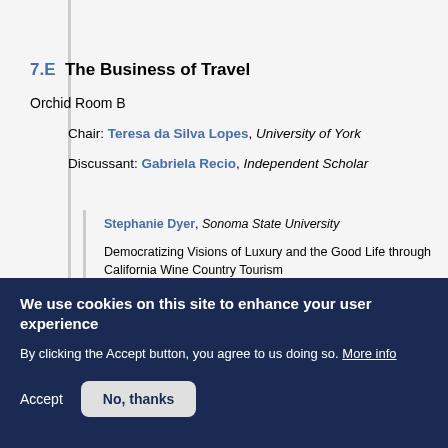7.E  The Business of Travel
Orchid Room B
Chair: Teresa da Silva Lopes, University of York
Discussant: Gabriela Recio, Independent Scholar
Stephanie Dyer, Sonoma State University
Democratizing Visions of Luxury and the Good Life through California Wine Country Tourism
Eric Godelier, Ecole Polytechnique, and Marcela Efmertová, Czech Technical University in Prague
We use cookies on this site to enhance your user experience
By clicking the Accept button, you agree to us doing so. More info
Accept
No, thanks